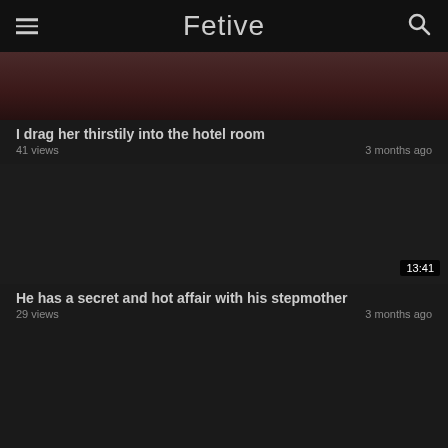Fetive
[Figure (photo): Partial video thumbnail showing close-up image, cropped at top]
I drag her thirstily into the hotel room
41 views  3 months ago
[Figure (photo): Dark video thumbnail with duration badge 13:41]
He has a secret and hot affair with his stepmother
29 views  3 months ago